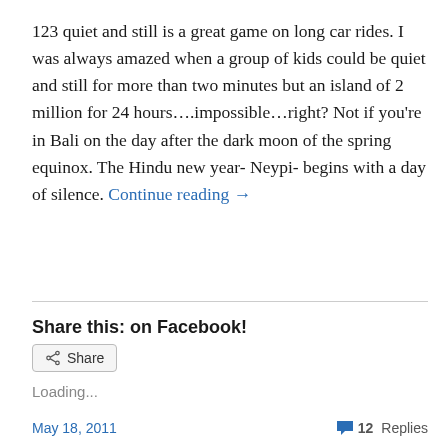123 quiet and still is a great game on long car rides. I was always amazed when a group of kids could be quiet and still for more than two minutes but an island of 2 million for 24 hours….impossible…right? Not if you're in Bali on the day after the dark moon of the spring equinox. The Hindu new year- Neypi- begins with a day of silence. Continue reading →
Share this: on Facebook!
[Figure (screenshot): A Share button with share icon, rounded rectangle border, light gray background]
Loading...
May 18, 2011   💬 12 Replies